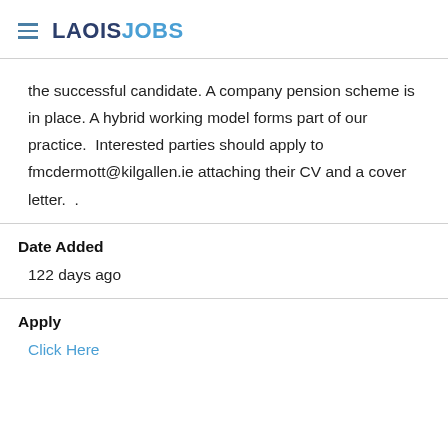LAOISJOBS
the successful candidate. A company pension scheme is in place. A hybrid working model forms part of our practice.  Interested parties should apply to fmcdermott@kilgallen.ie attaching their CV and a cover letter.  .
Date Added
122 days ago
Apply
Click Here